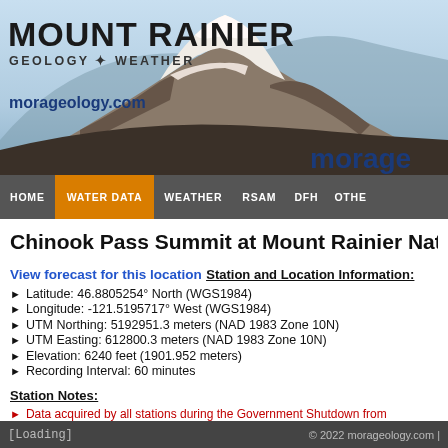[Figure (photo): Mount Rainier banner with mountain photo background, title 'MOUNT RAINIER', subtitle 'GEOLOGY + WEATHER', URL 'morageology.com', and 'morage' text on right]
HOME | WATER DATA | WEATHER | RSAM | DFH | OTHER
Chinook Pass Summit at Mount Rainier Nationa
View forecast for this location
Station and Location Information:
Latitude: 46.8805254° North (WGS1984)
Longitude: -121.5195717° West (WGS1984)
UTM Northing: 5192951.3 meters (NAD 1983 Zone 10N)
UTM Easting: 612800.3 meters (NAD 1983 Zone 10N)
Elevation: 6240 feet (1901.952 meters)
Recording Interval: 60 minutes
Station Notes:
Data acquired by all stations during the Government Shutdown from December ... January 26, 2018 may not be correct and should be considered provisional data until ... by staff
[Loading]                    © 2022 morageology.com |